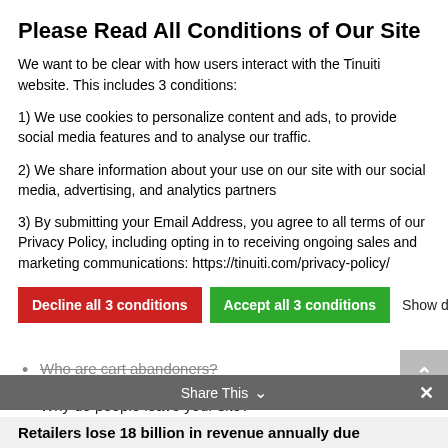Please Read All Conditions of Our Site
We want to be clear with how users interact with the Tinuiti website. This includes 3 conditions:
1) We use cookies to personalize content and ads, to provide social media features and to analyse our traffic.
2) We share information about your use on our site with our social media, advertising, and analytics partners
3) By submitting your Email Address, you agree to all terms of our Privacy Policy, including opting in to receiving ongoing sales and marketing communications: https://tinuiti.com/privacy-policy/
Decline all 3 conditions | Accept all 3 conditions | Show details
Who are cart abandoners?
Why do people leave your site?
Whats the number on reason people leave my site?
Share This
Retailers lose 18 billion in revenue annually due